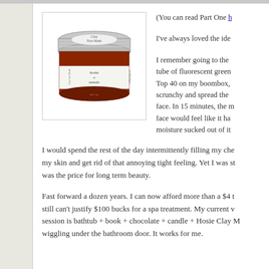[Figure (photo): A jar of Hosie Naturals Clay Face Mask with a silver lid and a label showing 'hosie naturals']
(You can read Part One h[ere])
I've always loved the ide[a of face masks...]
I remember going to the [drugstore and buying a] tube of fluorescent green [mask gel. I'd blast] Top 40 on my boombox, [tie my hair back with a] scrunchy and spread the [green goo all over my] face. In 15 minutes, the m[ask would be rock hard, my] face would feel like it ha[d every last drop of] moisture sucked out of it[.]
I would spend the rest of the day intermittently filling my che[eks with air trying to rehydrate] my skin and get rid of that annoying tight feeling. Yet I was st[ill convinced that this torture] was the price for long term beauty.
Fast forward a dozen years. I can now afford more than a $4 t[ube of glop, but I] still can't justify $100 bucks for a spa treatment. My current v[ersion of a DIY spa] session is bathtub + book + chocolate + candle + Hosie Clay M[ask + kids banging and] wiggling under the bathroom door. It works for me.